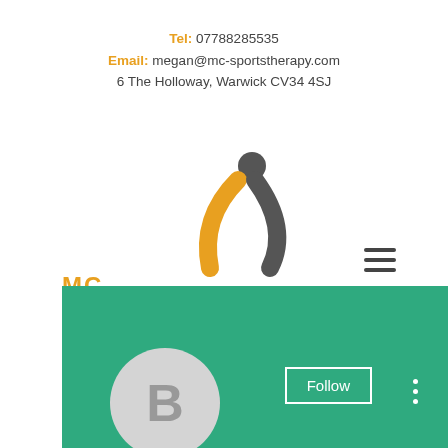Tel: 07788285535
Email: megan@mc-sportstherapy.com
6 The Holloway, Warwick CV34 4SJ
[Figure (logo): MC Sports & Physiotherapy logo: a stylized human figure with orange and dark grey curved arms/body, circle head in dark grey]
MC SPORTS & PHYSIOTHERAPY
[Figure (screenshot): Green banner (teal/green background) with a Follow button outlined in white and three vertical dots menu icon; partially visible grey avatar circle with letter B at bottom]